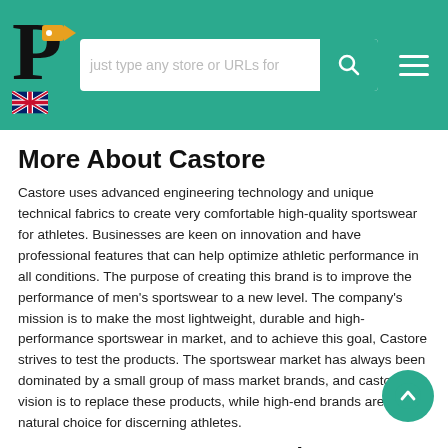[Figure (logo): Website header with teal background, P logo with price tag, UK flag, search bar, and hamburger menu]
More About Castore
Castore uses advanced engineering technology and unique technical fabrics to create very comfortable high-quality sportswear for athletes. Businesses are keen on innovation and have professional features that can help optimize athletic performance in all conditions. The purpose of creating this brand is to improve the performance of men's sportswear to a new level. The company's mission is to make the most lightweight, durable and high-performance sportswear in market, and to achieve this goal, Castore strives to test the products. The sportswear market has always been dominated by a small group of mass market brands, and castore's vision is to replace these products, while high-end brands are a natural choice for discerning athletes.
How to Use My Castore Discount Codes?
Want to get discounts and give your purse a rest? Use the